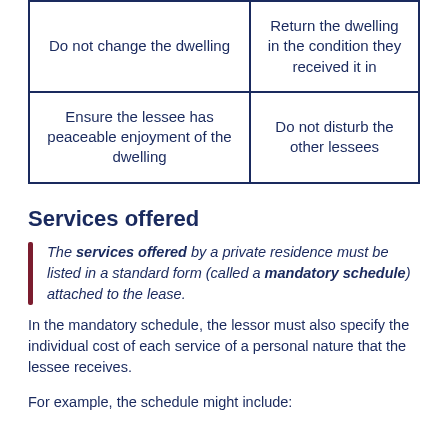| Do not change the dwelling | Return the dwelling in the condition they received it in |
| Ensure the lessee has peaceable enjoyment of the dwelling | Do not disturb the other lessees |
Services offered
The services offered by a private residence must be listed in a standard form (called a mandatory schedule) attached to the lease.
In the mandatory schedule, the lessor must also specify the individual cost of each service of a personal nature that the lessee receives.
For example, the schedule might include: